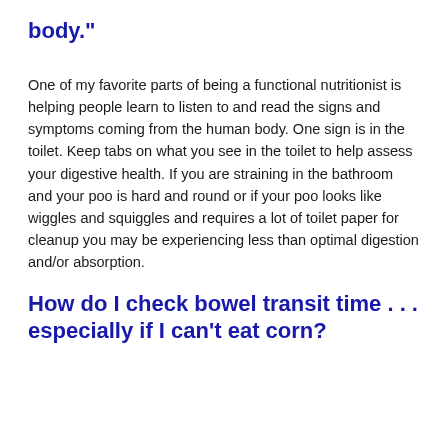body."
One of my favorite parts of being a functional nutritionist is helping people learn to listen to and read the signs and symptoms coming from the human body. One sign is in the toilet. Keep tabs on what you see in the toilet to help assess your digestive health. If you are straining in the bathroom and your poo is hard and round or if your poo looks like wiggles and squiggles and requires a lot of toilet paper for cleanup you may be experiencing less than optimal digestion and/or absorption.
How do I check bowel transit time . . . especially if I can’t eat corn?